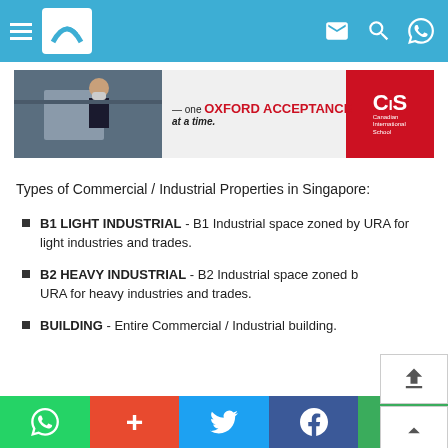Navigation bar with menu, logo, mail, search, and WhatsApp icons
[Figure (photo): CIS Canadian International School advertisement banner — one OXFORD ACCEPTANCE at a time.]
Types of Commercial / Industrial Properties in Singapore:
B1 LIGHT INDUSTRIAL - B1 Industrial space zoned by URA for light industries and trades.
B2 HEAVY INDUSTRIAL - B2 Industrial space zoned by URA for heavy industries and trades.
BUILDING - Entire Commercial / Industrial building.
Social share bar: WhatsApp, Plus, Twitter, Facebook, WeChat